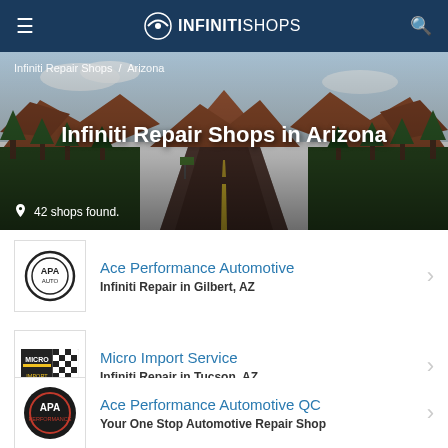INFINITISHOPS
[Figure (photo): Desert road winding through red rock canyon landscape with green trees and cloudy sky, representing Arizona scenery]
Infiniti Repair Shops / Arizona
Infiniti Repair Shops in Arizona
42 shops found.
Ace Performance Automotive — Infiniti Repair in Gilbert, AZ
Micro Import Service — Infiniti Repair in Tucson, AZ
Ace Performance Automotive QC — Your One Stop Automotive Repair Shop